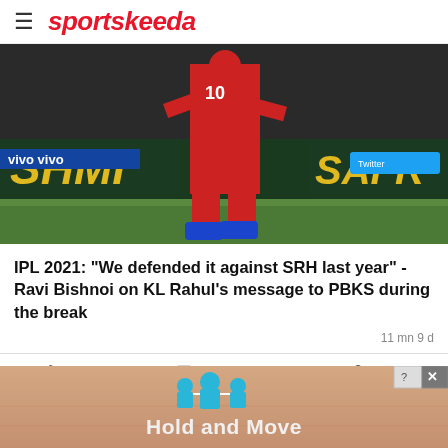sportskeeda
[Figure (photo): Cricket player in red uniform on field, advertisement hoardings in background (SHMI, SAFARI, vivo sponsors visible)]
IPL 2021: "We defended it against SRH last year" - Ravi Bishnoi on KL Rahul's message to PBKS during the break
11 mn 9 d
Like   Comment   Share
[Figure (photo): Cricket players from SRH and RCB teams, blue background]
[Figure (advertisement): Hold and Move advertisement banner with people icons]